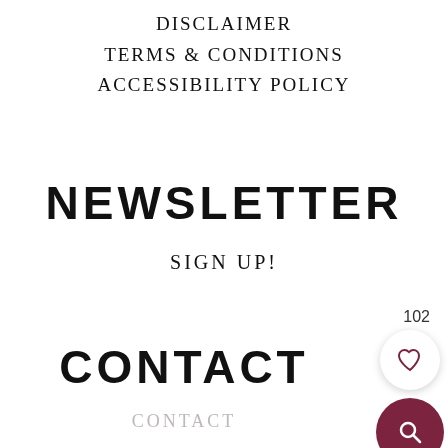DISCLAIMER
TERMS & CONDITIONS
ACCESSIBILITY POLICY
NEWSLETTER
SIGN UP!
102
CONTACT
CONTACT